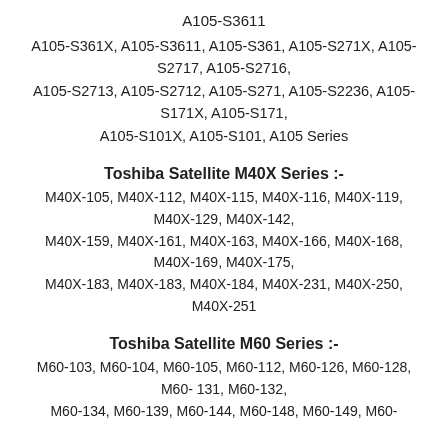A105-S3611
A105-S361X, A105-S3611, A105-S361, A105-S271X, A105-S2717, A105-S2716, A105-S2713, A105-S2712, A105-S271, A105-S2236, A105-S171X, A105-S171, A105-S101X, A105-S101, A105 Series
Toshiba Satellite M40X Series :-
M40X-105, M40X-112, M40X-115, M40X-116, M40X-119, M40X-129, M40X-142, M40X-159, M40X-161, M40X-163, M40X-166, M40X-168, M40X-169, M40X-175, M40X-183, M40X-183, M40X-184, M40X-231, M40X-250, M40X-251
Toshiba Satellite M60 Series :-
M60-103, M60-104, M60-105, M60-112, M60-126, M60-128, M60- 131, M60-132, M60-134, M60-139, M60-144, M60-148, M60-149, M60-...